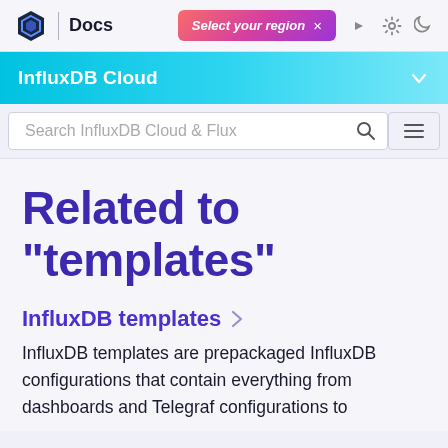Docs | Select your region ×
InfluxDB Cloud
Search InfluxDB Cloud & Flux
Related to "templates"
InfluxDB templates >
InfluxDB templates are prepackaged InfluxDB configurations that contain everything from dashboards and Telegraf configurations to